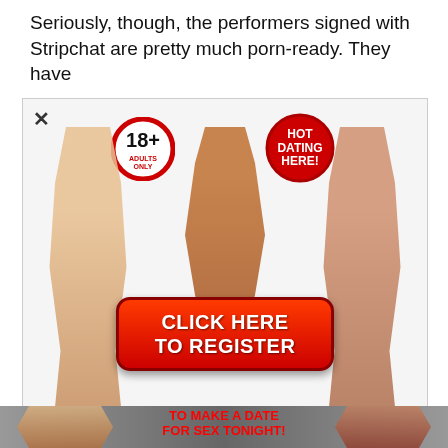Seriously, though, the performers signed with Stripchat are pretty much porn-ready. They have
[Figure (advertisement): Adult dating advertisement popup with 18+ badge, HOT DATING HERE badge, three female figures, and a red CLICK HERE TO REGISTER button]
[Figure (advertisement): Bottom adult dating banner with red text TO MAKE A DATE FOR SEX TONIGHT! and a yellow Join Now! button, flanked by two female figures]